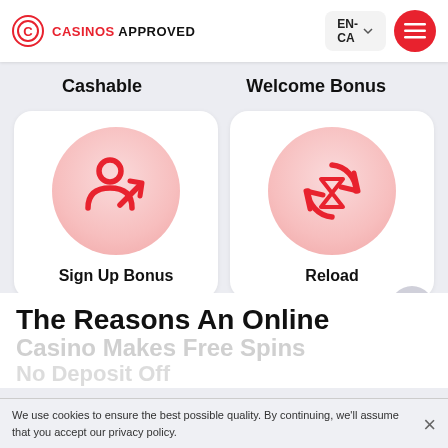CASINOS APPROVED | EN-CA
Cashable
Welcome Bonus
[Figure (illustration): Red person/signup icon with upward arrow on pink circle background, labeled Sign Up Bonus]
[Figure (illustration): Red hourglass with circular arrows icon on pink circle background, labeled Reload]
Sign Up Bonus
Reload
The Reasons An Online Casino Makes Free Spins No Deposit Off
We use cookies to ensure the best possible quality. By continuing, we'll assume that you accept our privacy policy.